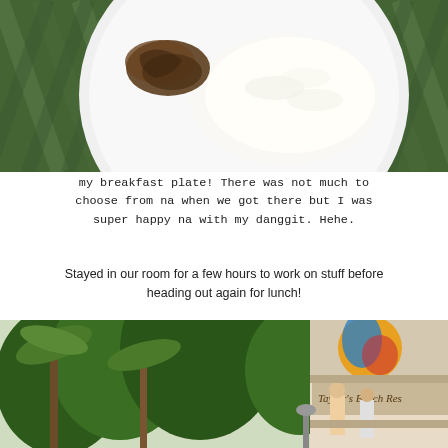[Figure (photo): Overhead shot of a white plate with white rice and a piece of danggit (dried fish), placed on a green woven mat/placemat background.]
my breakfast plate! There was not much to choose from na when we got there but I was super happy na with my danggit. Hehe.
Stayed in our room for a few hours to work on stuff before heading out again for lunch!
[Figure (photo): Outdoor photo of a tropical restaurant entrance with palm trees and lush greenery. A sign on the right reads 'Taylor's Beach Res...' (partial). People are visible near the entrance.]